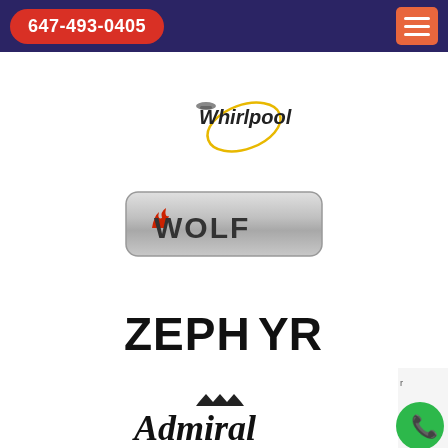647-493-0405
[Figure (logo): Whirlpool brand logo with yellow oval swirl and grey spaceship icon]
[Figure (logo): Wolf brand logo on silver metallic rounded rectangle background with flame icon on W]
[Figure (logo): Zephyr brand logo in bold black sans-serif text]
[Figure (logo): Admiral brand logo in bold italic black text with crown above]
[Figure (other): Green circular phone call button badge at bottom right corner]